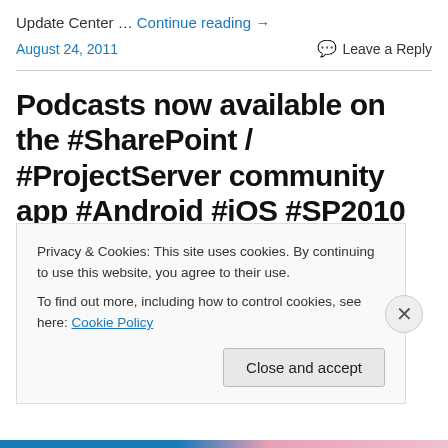Update Center … Continue reading →
August 24, 2011   💬 Leave a Reply
Podcasts now available on the #SharePoint / #ProjectServer community app #Android #iOS #SP2010 #PS2010 #MSProject
Another week and another update to the SharePoint and
Privacy & Cookies: This site uses cookies. By continuing to use this website, you agree to their use.
To find out more, including how to control cookies, see here: Cookie Policy
Close and accept